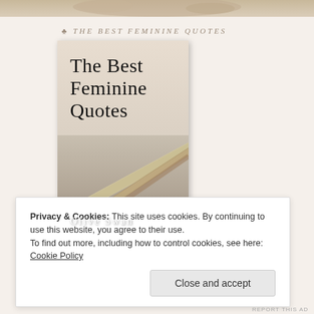[Figure (photo): Top strip of a book cover or image at the very top of the page, cropped]
♣ THE BEST FEMININE QUOTES
[Figure (illustration): Book cover for 'The Best Feminine Quotes' by Olive Swan. Title in large serif font at top, with photo of chopsticks/pencils on a surface in lower half. Author name at bottom in white serif text.]
Privacy & Cookies: This site uses cookies. By continuing to use this website, you agree to their use.
To find out more, including how to control cookies, see here: Cookie Policy
Close and accept